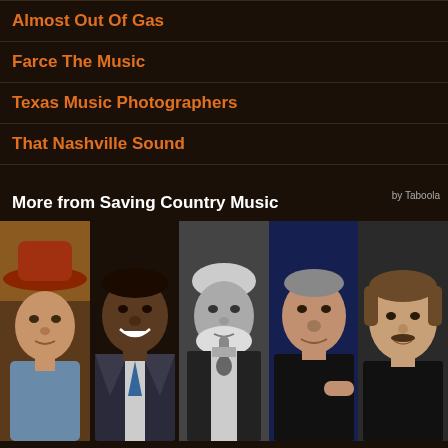Almost Out Of Gas
Farce The Music
Texas Music Photographers
That Nashville Sound
More from Saving Country Music
[Figure (photo): Collage of five country music artists side by side: elderly man in red cowboy hat, Charley Pride smiling, Kenny Rogers in black and white holding microphone, John Prine performing, Joe Diffie looking at camera]
In Memoriam: Country Music's Fallen Greats of 2020